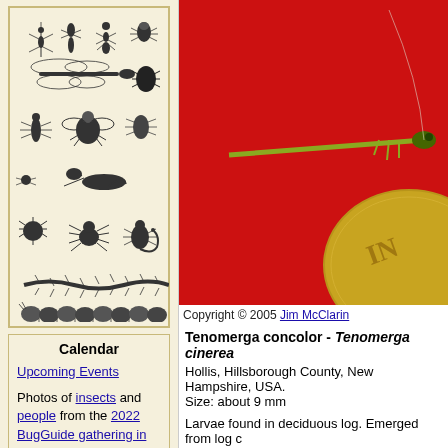[Figure (illustration): Collection of insect illustrations in black and white showing various species including mosquito, beetle, ant, dragonfly, flies, grasshopper, mite, spider, scorpion, centipede, and caterpillar]
Calendar
Upcoming Events
Photos of insects and people from the 2022 BugGuide gathering in New Mexico. July 20-24
National Moth Week was July 23-31, 2022!
[Figure (photo): Close-up photo of Tenomerga concolor insect on red background next to a coin for size comparison]
Copyright © 2005 Jim McClarin
Tenomerga concolor - Tenomerga cinerea
Hollis, Hillsborough County, New Hampshire, USA. Size: about 9 mm
Larvae found in deciduous log. Emerged from log c
Images of this individual: tag all